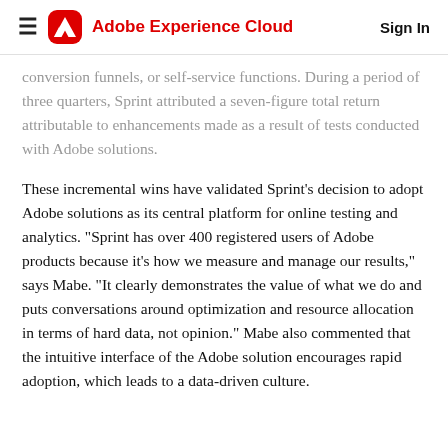Adobe Experience Cloud | Sign In
conversion funnels, or self-service functions. During a period of three quarters, Sprint attributed a seven-figure total return attributable to enhancements made as a result of tests conducted with Adobe solutions.
These incremental wins have validated Sprint's decision to adopt Adobe solutions as its central platform for online testing and analytics. "Sprint has over 400 registered users of Adobe products because it's how we measure and manage our results," says Mabe. "It clearly demonstrates the value of what we do and puts conversations around optimization and resource allocation in terms of hard data, not opinion." Mabe also commented that the intuitive interface of the Adobe solution encourages rapid adoption, which leads to a data-driven culture.